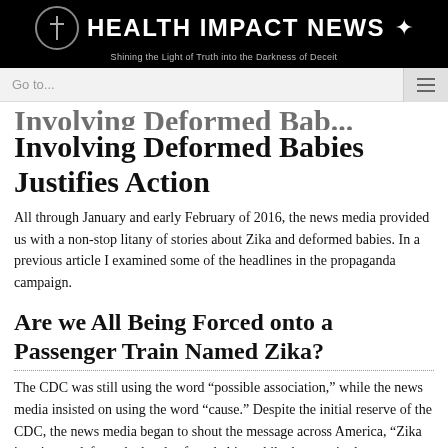HEALTH IMPACT NEWS — Shining the Light of Truth into the Darkness of Deceit
Involving Deformed Babies Justifies Action
All through January and early February of 2016, the news media provided us with a non-stop litany of stories about Zika and deformed babies. In a previous article I examined some of the headlines in the propaganda campaign.
Are we All Being Forced onto a Passenger Train Named Zika?
The CDC was still using the word “possible association,” while the news media insisted on using the word “cause.” Despite the initial reserve of the CDC, the news media began to shout the message across America, “Zika is going to deform the heads of our babies while they are in the